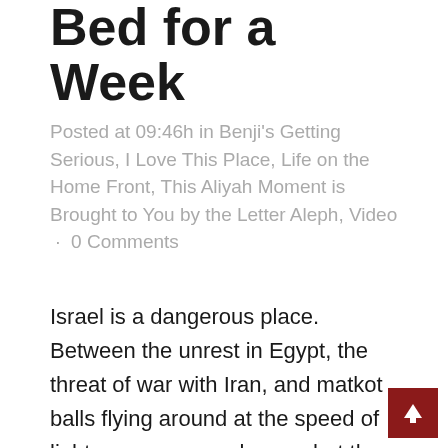Bed for a Week
Posted at 09:46h in Benji's Getting Serious, I Love This Place, Life on the Home Front, This Aliyah Moment is Brought to You by the Letter Aleph, Video · 0 Comments
Israel is a dangerous place. Between the unrest in Egypt, the threat of war with Iran, and matkot balls flying around at the speed of light, we can never know what the future holds. I was reminded of this last week when I threw my back out...